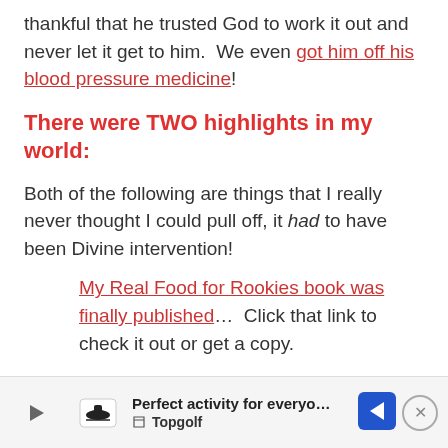thankful that he trusted God to work it out and never let it get to him.  We even got him off his blood pressure medicine!
There were TWO highlights in my world:
Both of the following are things that I really never thought I could pull off, it had to have been Divine intervention!
My Real Food for Rookies book was finally published…  Click that link to check it out or get a copy.
[Figure (infographic): Advertisement banner for Topgolf: 'Perfect activity for everyone' with Topgolf logo, play button icon, navigation arrow icon, and close (X) button.]